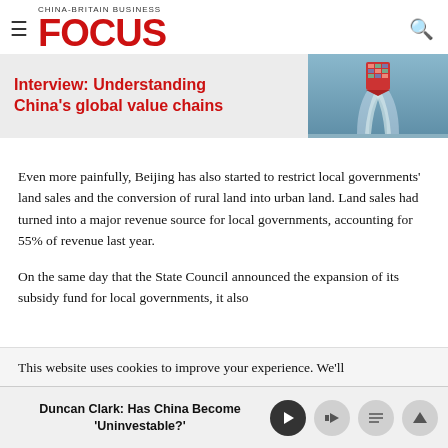CHINA-BRITAIN BUSINESS FOCUS
Interview: Understanding China's global value chains
Even more painfully, Beijing has also started to restrict local governments' land sales and the conversion of rural land into urban land. Land sales had turned into a major revenue source for local governments, accounting for 55% of revenue last year.
On the same day that the State Council announced the expansion of its subsidy fund for local governments, it also
This website uses cookies to improve your experience. We'll
Duncan Clark: Has China Become 'Uninvestable?'